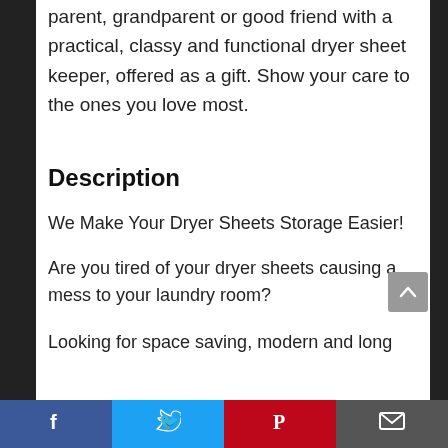parent, grandparent or good friend with a practical, classy and functional dryer sheet keeper, offered as a gift. Show your care to the ones you love most.
Description
We Make Your Dryer Sheets Storage Easier!
Are you tired of your dryer sheets causing a mess to your laundry room?
Looking for space saving, modern and long
Facebook | Twitter | Pinterest | Email